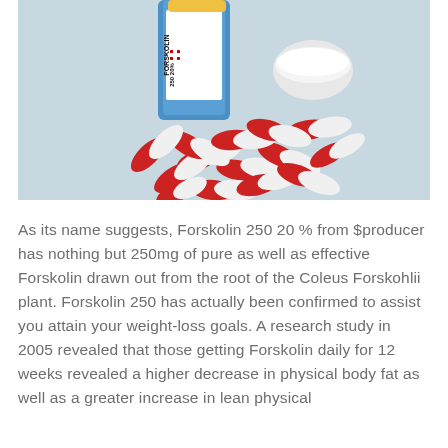[Figure (photo): Photograph of red and white capsule pills spilled out from a bottle labeled 'FORSKOLIN 250 20%', against a light blue-grey background. A white bottle cap is also visible.]
As its name suggests, Forskolin 250 20 % from $producer has nothing but 250mg of pure as well as effective Forskolin drawn out from the root of the Coleus Forskohlii plant. Forskolin 250 has actually been confirmed to assist you attain your weight-loss goals. A research study in 2005 revealed that those getting Forskolin daily for 12 weeks revealed a higher decrease in physical body fat as well as a greater increase in lean physical